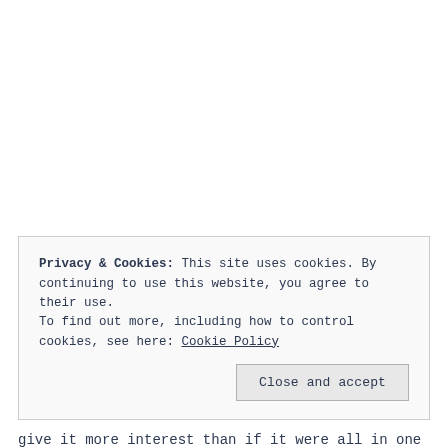Privacy & Cookies: This site uses cookies. By continuing to use this website, you agree to their use.
To find out more, including how to control cookies, see here: Cookie Policy
Close and accept
give it more interest than if it were all in one frame.